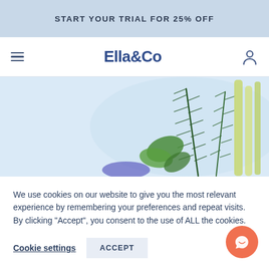START YOUR TRIAL FOR 25% OFF
Ella & Co
[Figure (photo): Photo of fresh herbs including rosemary, mint leaves, and lemongrass on a light blue background]
We use cookies on our website to give you the most relevant experience by remembering your preferences and repeat visits. By clicking "Accept", you consent to the use of ALL the cookies.
Cookie settings   ACCEPT